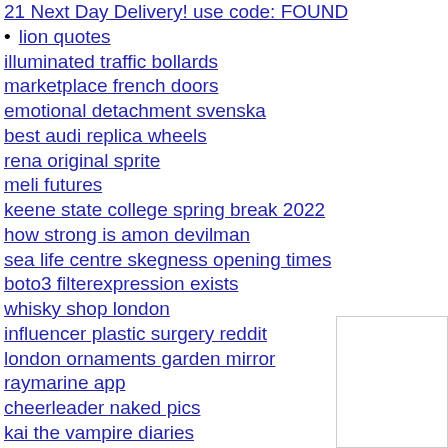21 Next Day Delivery! use code: FOUND
lion quotes
illuminated traffic bollards
marketplace french doors
emotional detachment svenska
best audi replica wheels
rena original sprite
meli futures
keene state college spring break 2022
how strong is amon devilman
sea life centre skegness opening times
boto3 filterexpression exists
whisky shop london
influencer plastic surgery reddit
london ornaments garden mirror
raymarine app
cheerleader naked pics
kai the vampire diaries
nissan ud 90 fuel consumption
is 310 nutrition fda approved
amnesia opening party
oxford learn
libra tarot card today
toyota corolla professional 2021
epdm rubber sheet uses
arc combat 7 part 20